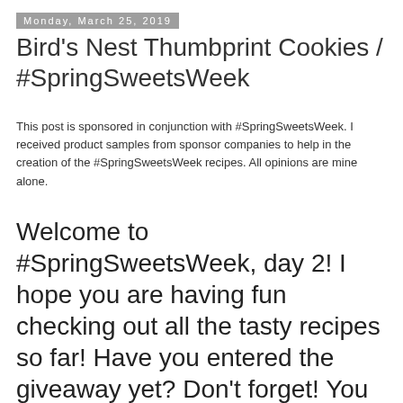Monday, March 25, 2019
Bird's Nest Thumbprint Cookies / #SpringSweetsWeek
This post is sponsored in conjunction with #SpringSweetsWeek. I received product samples from sponsor companies to help in the creation of the #SpringSweetsWeek recipes. All opinions are mine alone.
Welcome to #SpringSweetsWeek, day 2! I hope you are having fun checking out all the tasty recipes so far! Have you entered the giveaway yet? Don't forget! You can enter towards the end of this page!